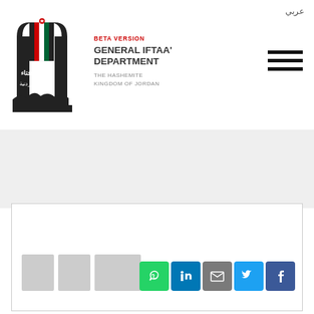عربي
[Figure (logo): General Iftaa' Department logo with Jordanian arch motif in black, red, green, white colors with Arabic calligraphy]
BETA VERSION
GENERAL IFTAA' DEPARTMENT
THE HASHEMITE KINGDOM OF JORDAN
[Figure (illustration): Gray background section placeholder]
[Figure (screenshot): White content box with thumbnail images and social sharing icons (WhatsApp, LinkedIn, Email, Twitter, Facebook)]